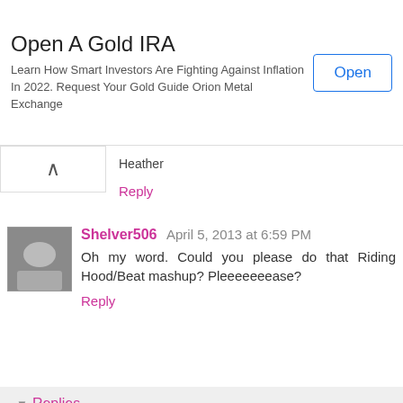[Figure (other): Advertisement banner for Open A Gold IRA by Orion Metal Exchange with an Open button]
Heather
Reply
Shelver506  April 5, 2013 at 6:59 PM
Oh my word. Could you please do that Riding Hood/Beat mashup? Pleeeeeeease?
Reply
Replies
Chloe Jacobs  April 5, 2013 at 10:48 PM
I think I might have to now LOL. it's almost become a dare. I can't ignore that!!
Reply